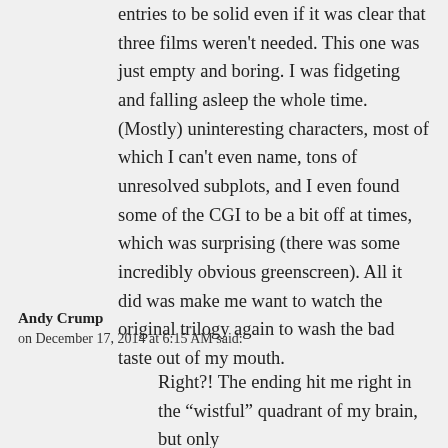entries to be solid even if it was clear that three films weren't needed. This one was just empty and boring. I was fidgeting and falling asleep the whole time. (Mostly) uninteresting characters, most of which I can't even name, tons of unresolved subplots, and I even found some of the CGI to be a bit off at times, which was surprising (there was some incredibly obvious greenscreen). All it did was make me want to watch the original trilogy again to wash the bad taste out of my mouth.
Andy Crump
on December 17, 2014 at 6:15 AM said:
Right?! The ending hit me right in the “wistful” quadrant of my brain, but only because it made me realize just how much...